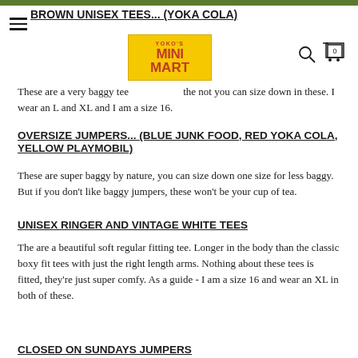BROWN UNISEX TEES... (YOKA COLA)
[Figure (logo): Yoko's Mini Mart logo — yellow background with red bold text reading YOKO'S MINI MART with a cartoon character icon]
These are a very baggy tee the not you can size down in these. I wear an L and XL and I am a size 16.
OVERSIZE JUMPERS... (BLUE JUNK FOOD, RED YOKA COLA, YELLOW PLAYMOBIL)
These are super baggy by nature, you can size down one size for less baggy. But if you don't like baggy jumpers, these won't be your cup of tea.
UNISEX RINGER AND VINTAGE WHITE TEES
The are a beautiful soft regular fitting tee. Longer in the body than the classic boxy fit tees with just the right length arms. Nothing about these tees is fitted, they're just super comfy. As a guide - I am a size 16 and wear an XL in both of these.
CLOSED ON SUNDAYS JUMPERS